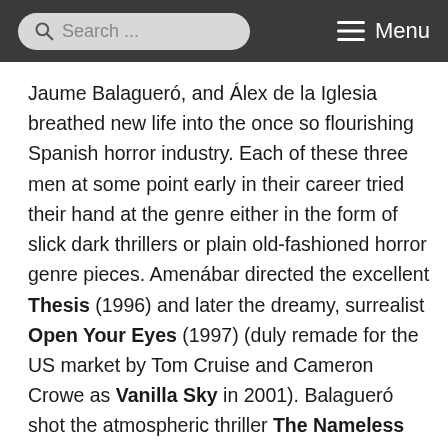Search ... Menu
Jaume Balagueró, and Álex de la Iglesia breathed new life into the once so flourishing Spanish horror industry. Each of these three men at some point early in their career tried their hand at the genre either in the form of slick dark thrillers or plain old-fashioned horror genre pieces. Amenábar directed the excellent Thesis (1996) and later the dreamy, surrealist Open Your Eyes (1997) (duly remade for the US market by Tom Cruise and Cameron Crowe as Vanilla Sky in 2001). Balagueró shot the atmospheric thriller The Nameless (1999), but wouldn't find success until [Rec] (2007) almost a decade later. Álex de la Iglesia was more of a Spanish equivalent to early Peter Jackson, packing The Day